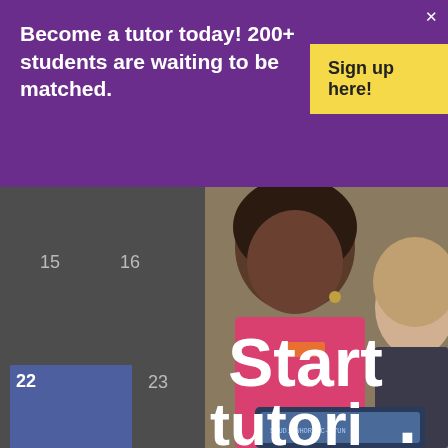Become a tutor today! 200+ students are waiting to be matched.
Sign up here!
[Figure (screenshot): A screenshot of a website showing a purple promotional banner overlay on top of a calendar app. The banner reads 'Become a tutor today! 200+ students are waiting to be matched.' with a yellow 'Sign up here!' button. Behind the banner is a partially visible calendar with dates 15, 16, 22, 23, 29, 30 visible. On the right side is a photo of a young Black girl in a pink shirt and an adult woman tutoring her, with large white text reading 'Start tutori...' overlaid on the photo.]
Start
tutori